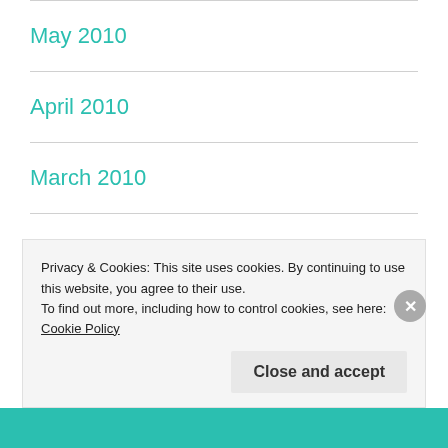May 2010
April 2010
March 2010
February 2010
January 2010
Privacy & Cookies: This site uses cookies. By continuing to use this website, you agree to their use. To find out more, including how to control cookies, see here: Cookie Policy
Close and accept